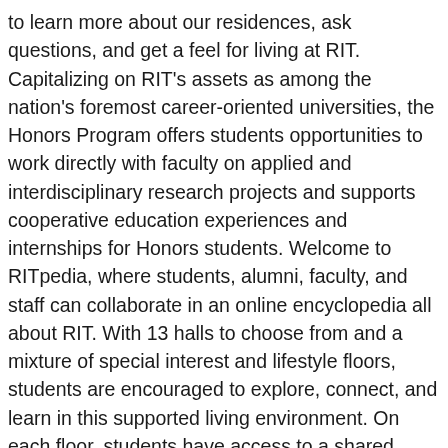to learn more about our residences, ask questions, and get a feel for living at RIT. Capitalizing on RIT's assets as among the nation's foremost career-oriented universities, the Honors Program offers students opportunities to work directly with faculty on applied and interdisciplinary research projects and supports cooperative education experiences and internships for Honors students. Welcome to RITpedia, where students, alumni, faculty, and staff can collaborate in an online encyclopedia all about RIT. With 13 halls to choose from and a mixture of special interest and lifestyle floors, students are encouraged to explore, connect, and learn in this supported living environment. On each floor, students have access to a shared lounge with a TV. Global Village 400-2030 LOBBY UP TO FIRST FLOOR UP TO FIRST FLOOR BLDG. Carleton Gibson Hall | CGH/049 Eugene Colby Hall | CHA-CHC/031-033 Facilities Management | FMS 099 Frances Baker Hall | BHA/027 & BHC/029 Grace Watson Hall | GWH/025 Helen Fish Hall | â¦ Nondiscrimination. Learn more about. Privacy Statement.